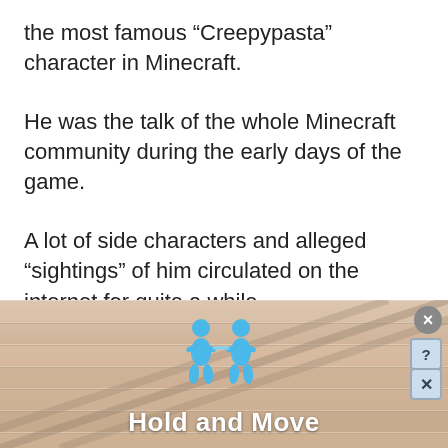the most famous “Creepypasta” character in Minecraft.
He was the talk of the whole Minecraft community during the early days of the game.
A lot of side characters and alleged “sightings” of him circulated on the internet for quite a while.
[Figure (infographic): Advertisement banner showing two blue cartoon figures with the text 'Hold and Move', with close and help buttons in the top right corner. Background has a wooden plank texture in peach/tan tones.]